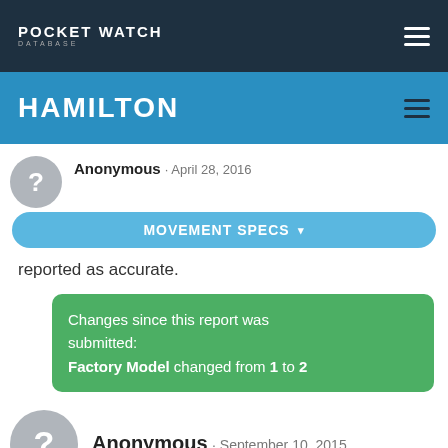POCKET WATCH DATABASE
HAMILTON
Anonymous · April 28, 2016
MOVEMENT SPECS ▾
reported as accurate.
Changes since this report was submitted: Factory Model changed from 1 to 2
Anonymous · September 10, 2015